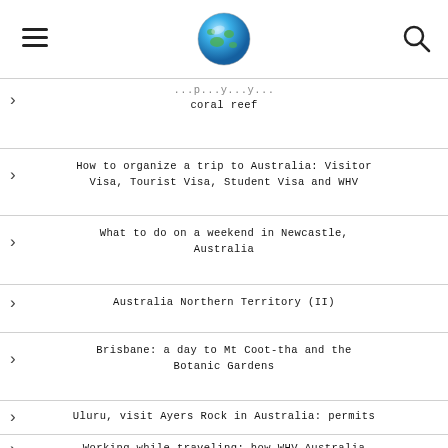[globe icon] [hamburger menu] [search icon]
coral reef
How to organize a trip to Australia: Visitor Visa, Tourist Visa, Student Visa and WHV
What to do on a weekend in Newcastle, Australia
Australia Northern Territory (II)
Brisbane: a day to Mt Coot-tha and the Botanic Gardens
Uluru, visit Ayers Rock in Australia: permits
Working while traveling: how WHV Australia